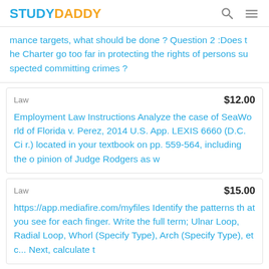STUDYDADDY
mance targets, what should be done ? Question 2 :Does the Charter go too far in protecting the rights of persons suspected committing crimes ?
| Subject | Price |
| --- | --- |
| Law | $12.00 |
Employment Law Instructions Analyze the case of SeaWorld of Florida v. Perez, 2014 U.S. App. LEXIS 6660 (D.C. Cir.) located in your textbook on pp. 559-564, including the opinion of Judge Rodgers as w
| Subject | Price |
| --- | --- |
| Law | $15.00 |
https://app.mediafire.com/myfiles Identify the patterns that you see for each finger. Write the full term; Ulnar Loop, Radial Loop, Whorl (Specify Type), Arch (Specify Type), etc... Next, calculate t
| Subject | Price |
| --- | --- |
| Law | $10.00 |